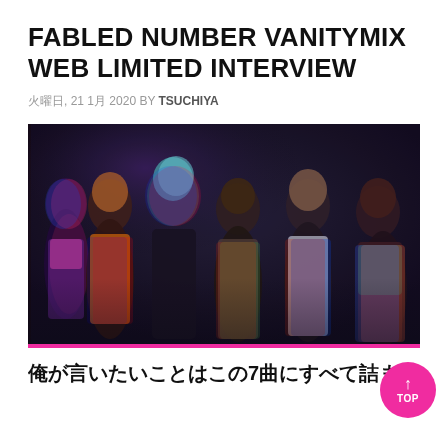FABLED NUMBER VANITYMIX WEB LIMITED INTERVIEW
火曜日, 21 1月 2020 BY TSUCHIYA
[Figure (photo): Group photo of FABLED NUMBER band members with colorful chromatic aberration / glitch effect on dark background. Six members standing together.]
俺が言いたいことはこの7曲にすべて詰まってい